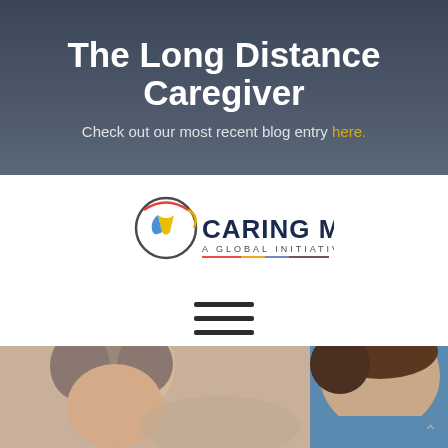The Long Distance Caregiver
Check out our most recent blog entry here.
[Figure (logo): Caring Men - A Global Initiative logo with colorful ribbon/caregiver icon]
[Figure (other): Hamburger menu icon with three horizontal lines]
[Figure (photo): Photo of an elderly woman and a young man in a blue shirt leaning in to care for her]